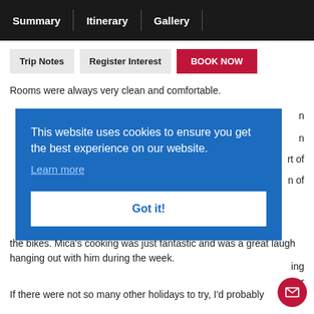Summary | Itinerary | Gallery
Trip Notes   Register Interest   BOOK NOW
Rooms were always very clean and comfortable.
[Figure (screenshot): Cookie consent banner with blue background. Text: 'This website uses cookies to ensure you get the best experience on our website.' with 'Learn more' link and 'Got it!' button.]
the bikes. Mica's cooking was just fantastic and was a great laugh hanging out with him during the week.
If there were not so many other holidays to try, I'd probably